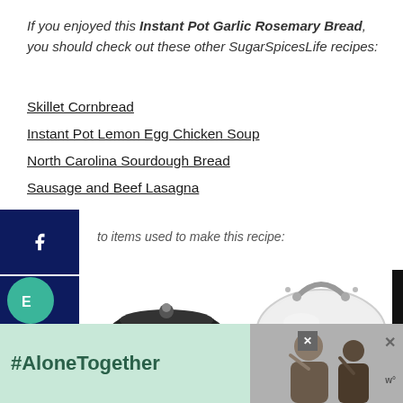If you enjoyed this Instant Pot Garlic Rosemary Bread, you should check out these other SugarSpicesLife recipes:
Skillet Cornbread
Instant Pot Lemon Egg Chicken Soup
North Carolina Sourdough Bread
Sausage and Beef Lasagna
to items used to make this recipe:
[Figure (photo): Black cast iron mini cocotte/pot with lid]
[Figure (photo): Instant Pot glass lid]
[Figure (photo): Instant Pot appliance lid partial view]
[Figure (photo): Ad banner with #AloneTogether text and photo of people]
[Figure (photo): Social share buttons: Facebook, Twitter, Pinterest]